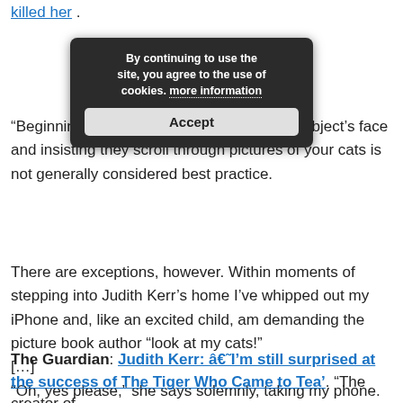killed her .
[Figure (screenshot): Cookie consent modal overlay with dark background. Text reads: 'By continuing to use the site, you agree to the use of cookies. more information' with an Accept button below.]
“Beginning an interview… r phone in your subject’s face and insisting they scroll through pictures of your cats is not generally considered best practice.
There are exceptions, however. Within moments of stepping into Judith Kerr’s home I’ve whipped out my iPhone and, like an excited child, am demanding the picture book author “look at my cats!”
[…]
“Oh, yes please,” she says solemnly, taking my phone. “This is absolutely essential.” “
The Guardian: Judith Kerr: â€˜I’m still surprised at the success of The Tiger Who Came to Tea’. “The creator of